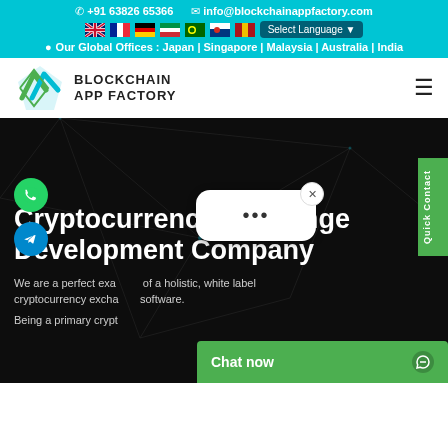☎ +91 63826 65366   ✉ info@blockchainappfactory.com
Our Global Offices : Japan | Singapore | Malaysia | Australia | India
[Figure (logo): Blockchain App Factory logo with teal diamond/chevron mark and text BLOCKCHAIN APP FACTORY]
Cryptocurrency Exchange Development Company
We are a perfect example of a holistic, white label cryptocurrency exchange software.
Being a primary crypt...